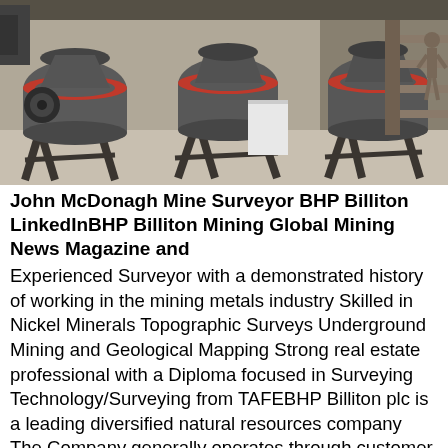[Figure (photo): Industrial mining cone crusher machines in a factory or exhibition setting. Large grey metal cone crushers with red/orange rings are shown on stands in a row.]
John McDonagh Mine Surveyor BHP Billiton LinkedInBHP Billiton Mining Global Mining News Magazine and
Experienced Surveyor with a demonstrated history of working in the mining metals industry Skilled in Nickel Minerals Topographic Surveys Underground Mining and Geological Mapping Strong real estate professional with a Diploma focused in Surveying Technology/Surveying from TAFEBHP Billiton plc is a leading diversified natural resources company The Company generally operates through customer sector groups CSGs The Company operates in nine segments Petroleum Aluminium Base Metals Diamonds and Specialty Products Stainless Steel Materials Iron Ore Manganese Metallurgical Coal and Energy Coal